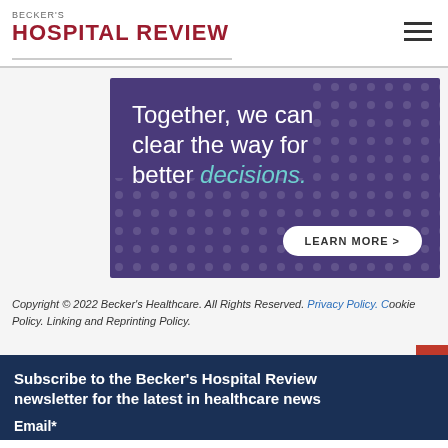BECKER'S HOSPITAL REVIEW
[Figure (illustration): Purple advertisement banner reading 'Together, we can clear the way for better decisions.' with a LEARN MORE button]
Copyright © 2022 Becker's Healthcare. All Rights Reserved. Privacy Policy. Cookie Policy. Linking and Reprinting Policy.
Subscribe to the Becker's Hospital Review newsletter for the latest in healthcare news
Email*